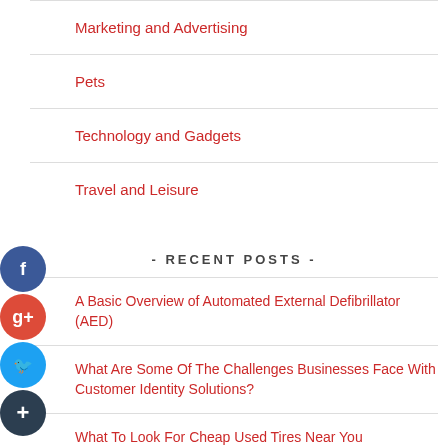Marketing and Advertising
Pets
Technology and Gadgets
Travel and Leisure
- RECENT POSTS -
A Basic Overview of Automated External Defibrillator (AED)
What Are Some Of The Challenges Businesses Face With Customer Identity Solutions?
What To Look For Cheap Used Tires Near You